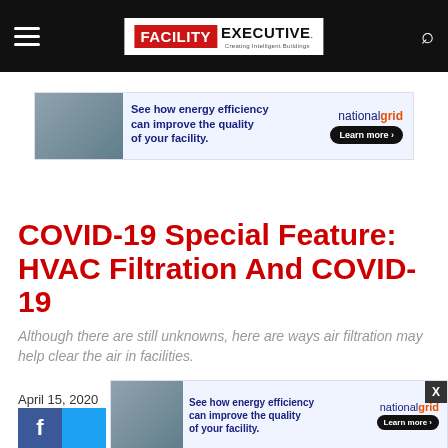FACILITY EXECUTIVE. Creating Intelligent Buildings
[Figure (advertisement): National Grid advertisement: See how energy efficiency can improve the quality of your facility. Learn more.]
COVID-19 Special Feature: HVAC Filtration And COVID-19
Although there are still unknowns, here are ways air filtration may help clear the air in facilities.
April 15, 2020
[Figure (advertisement): National Grid advertisement repeated at bottom: See how energy efficiency can improve the quality of your facility. Learn more.]